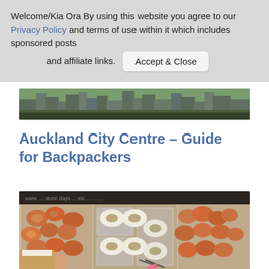Welcome/Kia Ora By using this website you agree to our Privacy Policy and terms of use within it which includes sponsored posts and affiliate links.
Accept & Close
[Figure (photo): Partial view of Auckland city skyline with buildings and trees, appearing at the top-right area beneath the cookie banner]
Auckland City Centre – Guide for Backpackers
[Figure (photo): A market stall or bakery display showing various donuts and pastries arranged in boxes and on a counter, viewed from above]